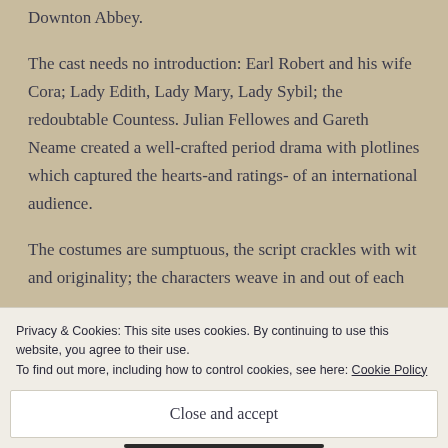Downton Abbey.
The cast needs no introduction: Earl Robert and his wife Cora; Lady Edith, Lady Mary, Lady Sybil; the redoubtable Countess. Julian Fellowes and Gareth Neame created a well-crafted period drama with plotlines which captured the hearts-and ratings- of an international audience.
The costumes are sumptuous, the script crackles with wit and originality; the characters weave in and out of each other's lives and...
Privacy & Cookies: This site uses cookies. By continuing to use this website, you agree to their use.
To find out more, including how to control cookies, see here: Cookie Policy
Close and accept